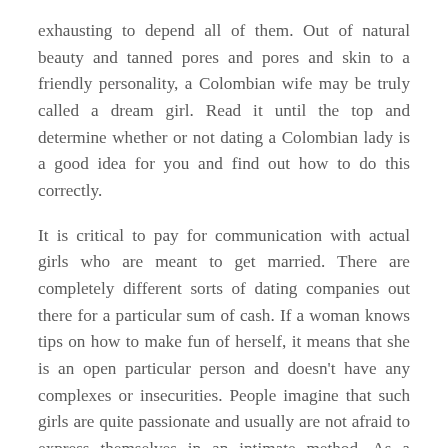exhausting to depend all of them. Out of natural beauty and tanned pores and pores and skin to a friendly personality, a Colombian wife may be truly called a dream girl. Read it until the top and determine whether or not dating a Colombian lady is a good idea for you and find out how to do this correctly.
It is critical to pay for communication with actual girls who are meant to get married. There are completely different sorts of dating companies out there for a particular sum of cash. If a woman knows tips on how to make fun of herself, it means that she is an open particular person and doesn't have any complexes or insecurities. People imagine that such girls are quite passionate and usually are not afraid to express themselves in an intimate method. As a matter of truth, that may be a reason why pretty Colombian women are much easier to get acquainted with.